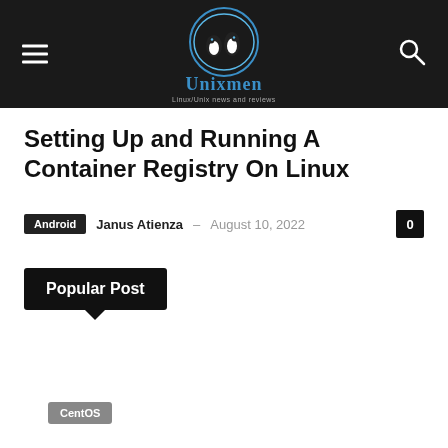Unixmen — Linux/Unix news and reviews
Setting Up and Running A Container Registry On Linux
Android  Janus Atienza  –  August 10, 2022  0
Popular Post
CentOS